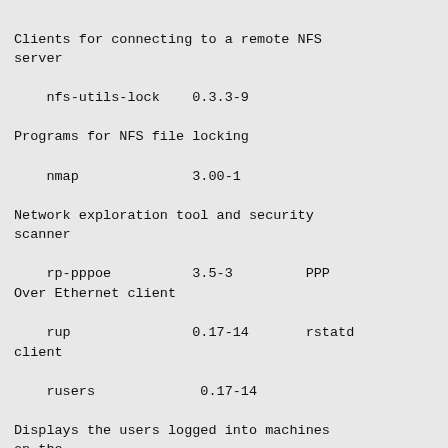Clients for connecting to a remote NFS server
nfs-utils-lock    0.3.3-9
Programs for NFS file locking
nmap              3.00-1
Network exploration tool and security scanner
rp-pppoe          3.5-3         PPP Over Ethernet client
rup               0.17-14       rstatd client
rusers             0.17-14
Displays the users logged into machines on the
rwall              0.17-13       Client for sending messages to a host's logged
telnet             0.17-23       Client for the telnet remote login protocol
telnetd            0.17-23       Server